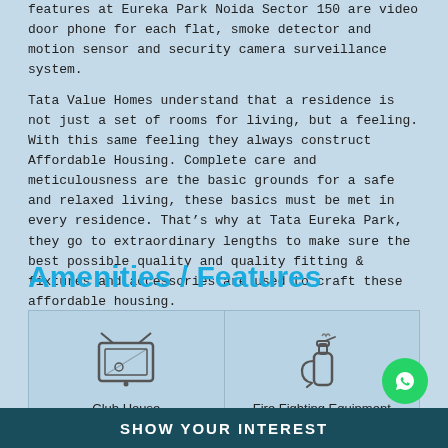features at Eureka Park Noida Sector 150 are video door phone for each flat, smoke detector and motion sensor and security camera surveillance system.
Tata Value Homes understand that a residence is not just a set of rooms for living, but a feeling. With this same feeling they always construct Affordable Housing. Complete care and meticulousness are the basic grounds for a safe and relaxed living, these basics must be met in every residence. That’s why at Tata Eureka Park, they go to extraordinary lengths to make sure the best possible quality and quality fitting & fixtures and accessories are used to craft these affordable housing.
Amenities / Features
[Figure (infographic): Two amenity icons in a light blue grid: Club House (TV/monitor icon) on the left, Fire Fighting Equipment (fire extinguisher icon) on the right]
SHOW YOUR INTEREST